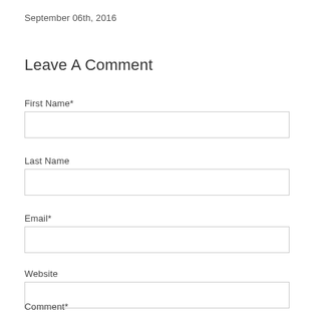September 06th, 2016
Leave A Comment
First Name*
Last Name
Email*
Website
Comment*